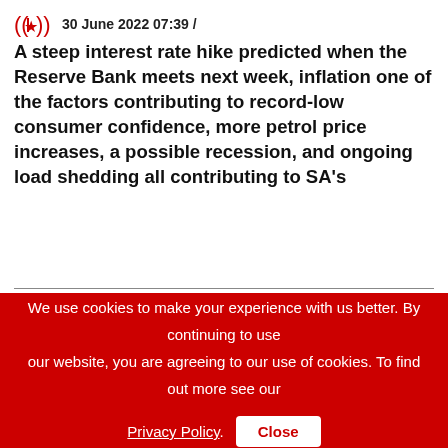30 June 2022 07:39 /
A steep interest rate hike predicted when the Reserve Bank meets next week, inflation one of the factors contributing to record-low consumer confidence, more petrol price increases, a possible recession, and ongoing load shedding all contributing to SA's
[Figure (photo): Headshot photo of a middle-aged man with grey hair wearing a white shirt, against a dark background]
[Figure (logo): Radio Money Moves logo with Chris Gibbons branding]
We use cookies to make your experience with us better. By continuing to use our website, you are agreeing to our use of cookies. To find out more see our Privacy Policy.